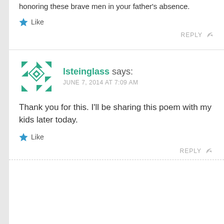honoring these brave men in your father's absence.
★ Like
REPLY ↩
lsteinglass says:
JUNE 7, 2014 AT 7:09 AM
Thank you for this. I'll be sharing this poem with my kids later today.
★ Like
REPLY ↩